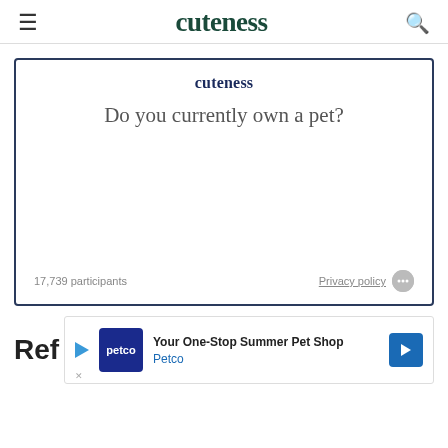cuteness
[Figure (other): Poll widget with cuteness logo, question 'Do you currently own a pet?', 17,739 participants, Privacy policy link]
Ref
[Figure (other): Petco advertisement: 'Your One-Stop Summer Pet Shop' with Petco logo and navigation arrow]